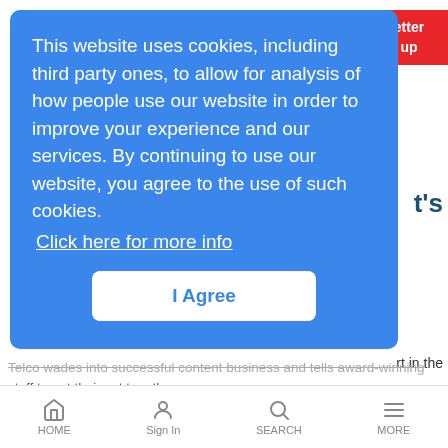[Figure (screenshot): Cookie consent overlay popup on a blue background with 'I Agree' button, partially covering a news website page]
Telco wades into successful content business and tells award-winning staff to get their act together.
Eurobites: Openreach Turns to Nokia, Huawei for 'Fibre First' Aid
News Analysis | 7/10/2018
Also in today's EMEA regional roundup: UK Treasury wonks present fiber
HOME  Sign In  SEARCH  MORE